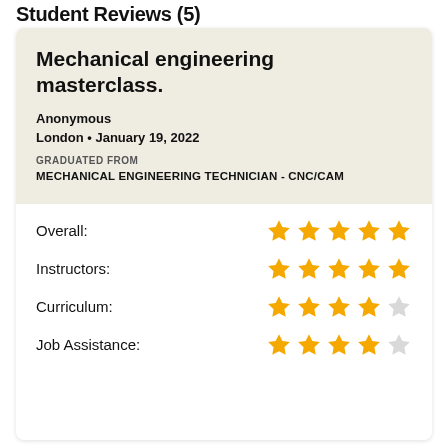Student Reviews (5)
Mechanical engineering masterclass.
Anonymous
London • January 19, 2022
GRADUATED FROM
MECHANICAL ENGINEERING TECHNICIAN - CNC/CAM
| Category | Rating |
| --- | --- |
| Overall: | 5 stars |
| Instructors: | 5 stars |
| Curriculum: | 4 stars |
| Job Assistance: | 4 stars |